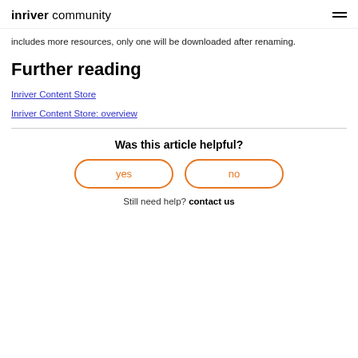inriver community
includes more resources, only one will be downloaded after renaming.
Further reading
Inriver Content Store
Inriver Content Store: overview
Was this article helpful?
yes
no
Still need help? contact us